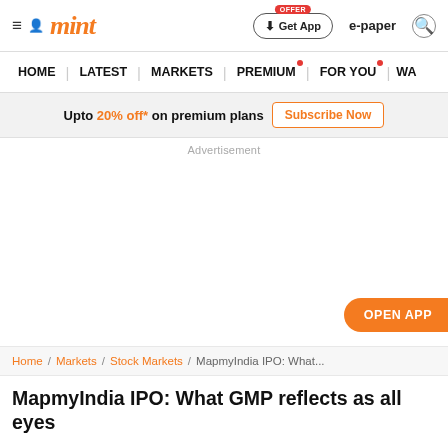mint | Get App | e-paper
HOME | LATEST | MARKETS | PREMIUM | FOR YOU | WA
Upto 20% off* on premium plans  Subscribe Now
Advertisement
OPEN APP
Home / Markets / Stock Markets / MapmyIndia IPO: What...
MapmyIndia IPO: What GMP reflects as all eyes